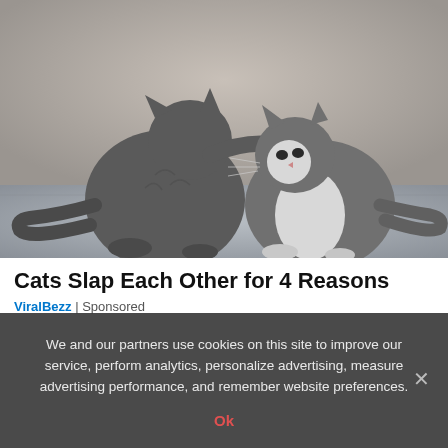[Figure (photo): Two grey cats facing each other; one cat has its paw raised and is touching/slapping the other cat on the face. Both cats are sitting on a light grey surface against a neutral background.]
Cats Slap Each Other for 4 Reasons
ViralBezz | Sponsored
We and our partners use cookies on this site to improve our service, perform analytics, personalize advertising, measure advertising performance, and remember website preferences.
Ok